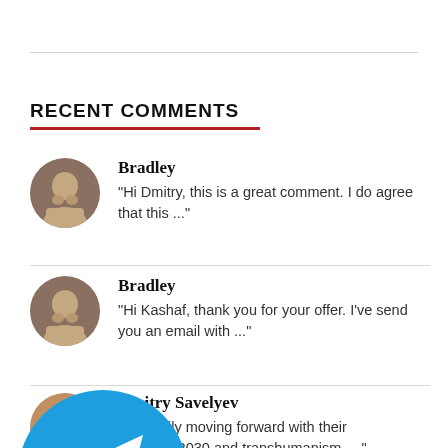RECENT COMMENTS
Bradley: "Hi Dmitry, this is a great comment. I do agree that this ..."
Bradley: "Hi Kashaf, thank you for your offer. I've send you an email with ..."
Dmitry Savelyev: "...is steadily moving forward with their ...k...2030 and transhumanism, ..."
[Figure (illustration): Telegram messenger icon — blue circle with white paper plane arrow logo, overlaid with a 'Join Us !' tooltip]
Bradley: "Interesting. And...extremely FEAR BASED!!..."